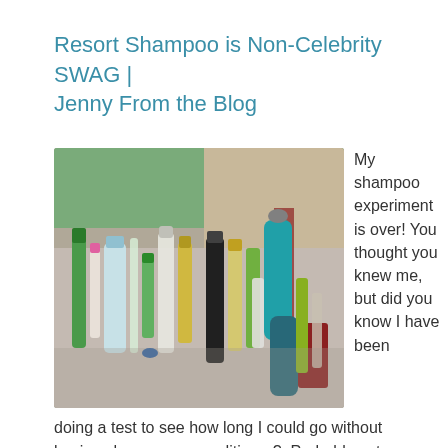Resort Shampoo is Non-Celebrity SWAG | Jenny From the Blog
[Figure (photo): Collection of hotel/resort mini shampoo and conditioner bottles arranged on a reflective surface, various colors including green, teal, yellow, black, and white bottles]
My shampoo experiment is over! You thought you knew me, but did you know I have been doing a test to see how long I could go without buying shampoo or conditioner?  Probably not.  Sheesh, some